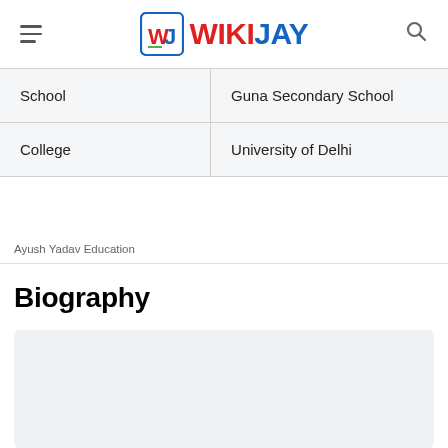WIKIJAY
| School | Guna Secondary School |
| College | University of Delhi |
Ayush Yadav Education
Biography
[Figure (other): Gray placeholder box for biography content image]